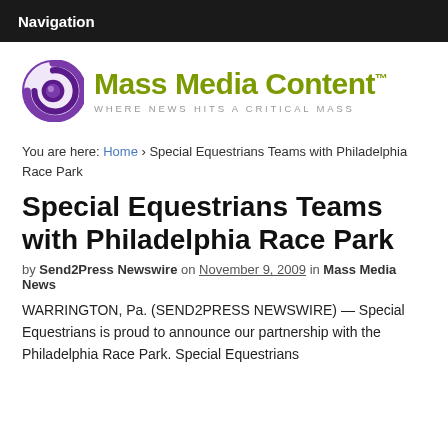Navigation
[Figure (logo): Mass Media Content logo with purple swirl icon and olive green text reading 'Mass Media Content™' with tagline 'WHERE NEWS HITS A CRITICAL MASS']
You are here: Home › Special Equestrians Teams with Philadelphia Race Park
Special Equestrians Teams with Philadelphia Race Park
by Send2Press Newswire on November 9, 2009 in Mass Media News
WARRINGTON, Pa. (SEND2PRESS NEWSWIRE) — Special Equestrians is proud to announce our partnership with the Philadelphia Race Park. Special Equestrians